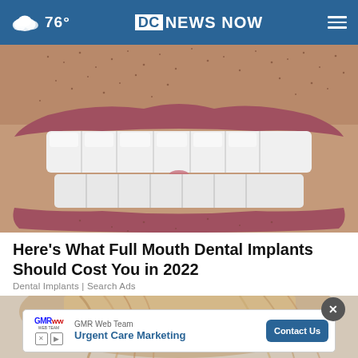76° DC NEWS NOW
[Figure (photo): Close-up photo of a person smiling showing white dental implants/teeth, with stubble visible on the chin and upper lip area.]
Here's What Full Mouth Dental Implants Should Cost You in 2022
Dental Implants | Search Ads
[Figure (photo): Partially visible image of a person, partially covered by an advertisement overlay.]
GMR Web Team
Urgent Care Marketing
Contact Us